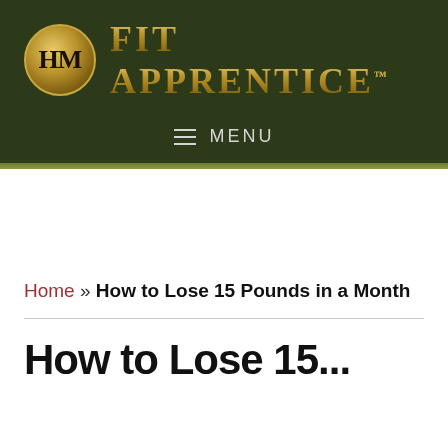HM FIT APPRENTICE™
≡  MENU
Home » How to Lose 15 Pounds in a Month
How to Lose 15...